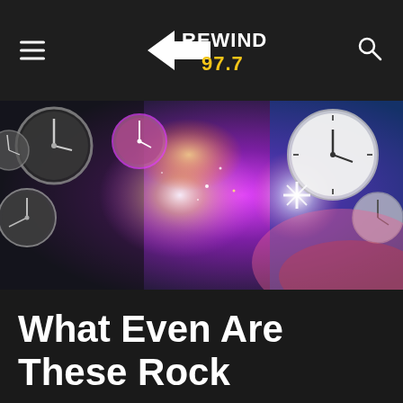REWIND 97.7
[Figure (photo): Colorful banner image with clocks and sparkly cosmic background in purple, pink, blue and gold tones]
What Even Are These Rock Grammy Nominations?!